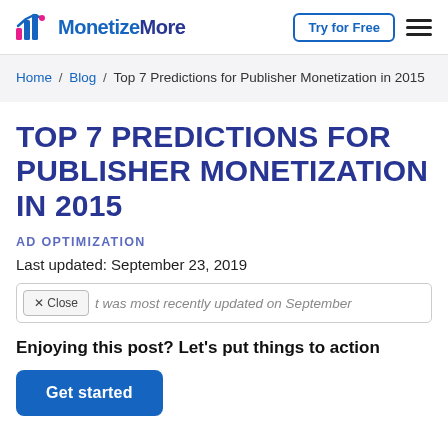MonetizeMore | Try for Free
Home / Blog / Top 7 Predictions for Publisher Monetization in 2015
TOP 7 PREDICTIONS FOR PUBLISHER MONETIZATION IN 2015
AD OPTIMIZATION
Last updated: September 23, 2019
X Close  t was most recently updated on September
Enjoying this post? Let's put things to action
Get started